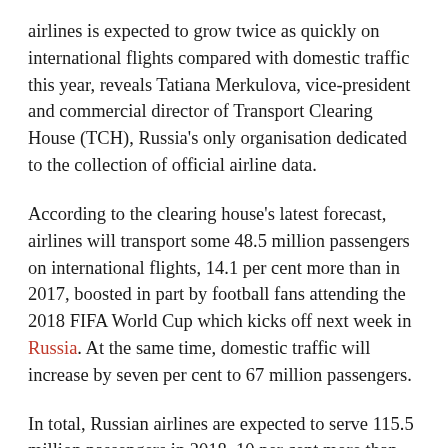airlines is expected to grow twice as quickly on international flights compared with domestic traffic this year, reveals Tatiana Merkulova, vice-president and commercial director of Transport Clearing House (TCH), Russia's only organisation dedicated to the collection of official airline data.
According to the clearing house's latest forecast, airlines will transport some 48.5 million passengers on international flights, 14.1 per cent more than in 2017, boosted in part by football fans attending the 2018 FIFA World Cup which kicks off next week in Russia. At the same time, domestic traffic will increase by seven per cent to 67 million passengers.
In total, Russian airlines are expected to serve 115.5 million passengers in 2018, 10 per cent more than last year. The TCH forecast is in line with the predictions of Vladimir Tasun, president of the Russian Association of Air Transport Operators,